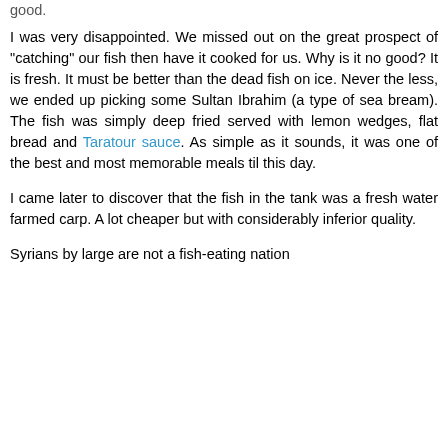good.
I was very disappointed. We missed out on the great prospect of "catching" our fish then have it cooked for us. Why is it no good? It is fresh. It must be better than the dead fish on ice. Never the less, we ended up picking some Sultan Ibrahim (a type of sea bream). The fish was simply deep fried served with lemon wedges, flat bread and Taratour sauce. As simple as it sounds, it was one of the best and most memorable meals til this day.
I came later to discover that the fish in the tank was a fresh water farmed carp. A lot cheaper but with considerably inferior quality.
Syrians by large are not a fish-eating nation